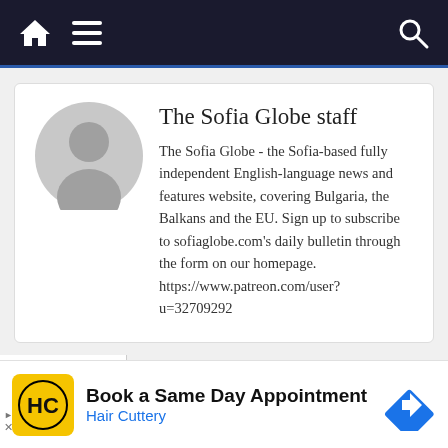Navigation bar with home, menu, and search icons
[Figure (illustration): Author profile card with avatar placeholder (grey circle/person silhouette), name 'The Sofia Globe staff', and bio text]
The Sofia Globe staff
The Sofia Globe - the Sofia-based fully independent English-language news and features website, covering Bulgaria, the Balkans and the EU. Sign up to subscribe to sofiaglobe.com's daily bulletin through the form on our homepage. https://www.patreon.com/user?u=32709292
[Figure (screenshot): Advertisement for Hair Cuttery: 'Book a Same Day Appointment' with Hair Cuttery logo and navigation arrow icon]